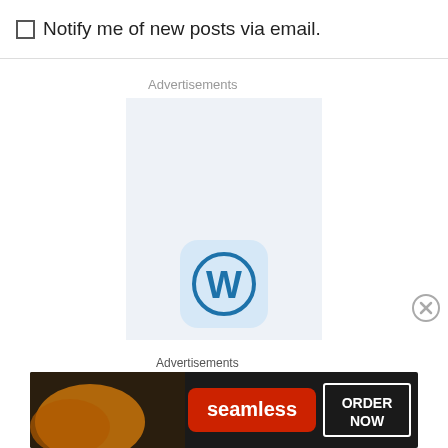Notify me of new posts via email.
Advertisements
[Figure (logo): WordPress logo icon — circular W on a light blue rounded-square background inside a light blue-grey ad placeholder box]
Advertisements
[Figure (screenshot): Seamless food delivery advertisement banner showing pizza images on the left, a red 'seamless' button in the center, and an 'ORDER NOW' button with white border on the right, all on a dark background]